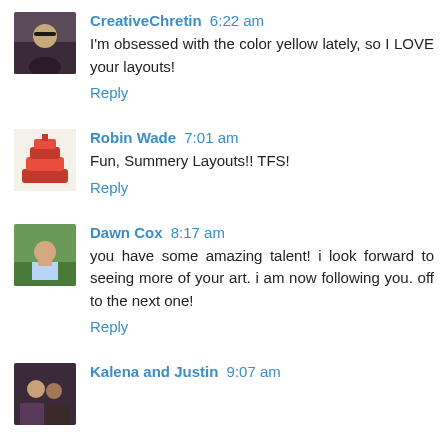[Figure (photo): Avatar photo of CreativeChretin — person with glasses]
CreativeChretin 6:22 am
I'm obsessed with the color yellow lately, so I LOVE your layouts!
Reply
[Figure (photo): Avatar photo of Robin Wade — tiered cake]
Robin Wade 7:01 am
Fun, Summery Layouts!! TFS!
Reply
[Figure (photo): Avatar photo of Dawn Cox — person outdoors]
Dawn Cox 8:17 am
you have some amazing talent! i look forward to seeing more of your art. i am now following you. off to the next one!
Reply
[Figure (photo): Avatar photo of Kalena and Justin — couple]
Kalena and Justin 9:07 am